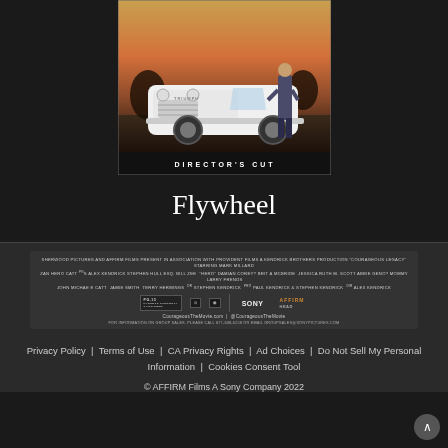[Figure (photo): Movie poster for Flywheel Director's Cut showing a white vintage car (Triumph TR3) and a man standing beside it against a warm sunset background, with 'DIRECTOR'S CUT' text at the bottom of the poster]
Flywheel
[Figure (other): Movie credits block showing studio logos (Sherwood Pictures, Affirm Films, Provident Films, Kendrick Brothers), cast and crew credits in small text, rating block (PG-13), Sony logo, Affirm Head logo, website CourageousTheMovie.com and @CourageousTheMovie, group sales information]
Privacy Policy  |  Terms of Use  |  CA Privacy Rights  |  Ad Choices  |  Do Not Sell My Personal Information  |  Cookies Consent Tool
© AFFIRM Films A Sony Company 2022